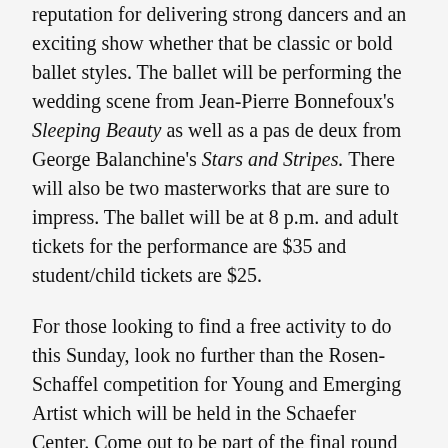reputation for delivering strong dancers and an exciting show whether that be classic or bold ballet styles. The ballet will be performing the wedding scene from Jean-Pierre Bonnefoux's Sleeping Beauty as well as a pas de deux from George Balanchine's Stars and Stripes. There will also be two masterworks that are sure to impress. The ballet will be at 8 p.m. and adult tickets for the performance are $35 and student/child tickets are $25.
For those looking to find a free activity to do this Sunday, look no further than the Rosen-Schaffel competition for Young and Emerging Artist which will be held in the Schaefer Center. Come out to be part of the final round of the competition which eight participants have been selected of the many who entered to compete for the top three prize spots.The highly acclaimed competition is in its seventh season where participants will compete in a public performances where the top three spots will be decided by the jurors but the audience will select an audience choice award winner. The first prize winner of the competition will